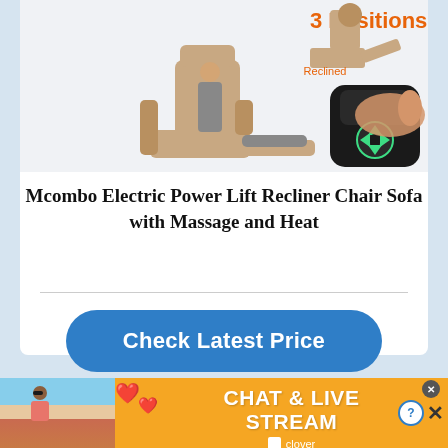[Figure (illustration): Product illustration showing a recliner chair in reclined position with label 'Reclined', text '3 Positions' in orange, and a hand holding a black remote control with green arrow buttons on a light gray background.]
Mcombo Electric Power Lift Recliner Chair Sofa with Massage and Heat
[Figure (infographic): Blue rounded rectangle button with white bold text 'Check Latest Price']
[Figure (photo): Advertisement banner with orange/yellow background showing a woman on a beach, heart emojis, and text 'CHAT & LIVE STREAM' with Clover logo. Has close (X) and help (?) buttons in top right.]